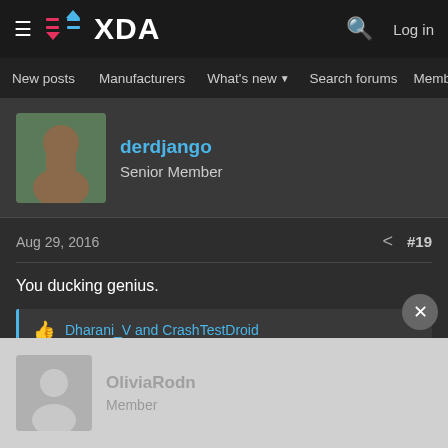XDA — Log in
New posts  Manufacturers  What's new  Search forums  Members  >
derdjango
Senior Member
Aug 29, 2016  #19
You ducking genius.
Dharani_V and CrashTestDroid
OliviaRodn
Member